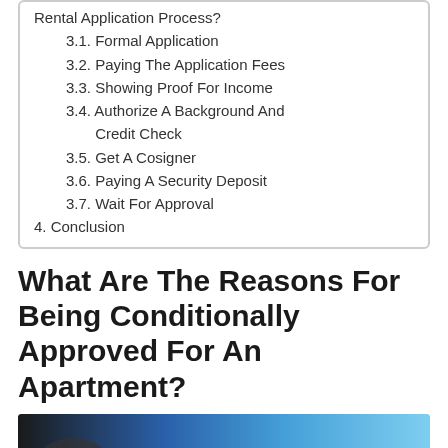Rental Application Process?
3.1. Formal Application
3.2. Paying The Application Fees
3.3. Showing Proof For Income
3.4. Authorize A Background And Credit Check
3.5. Get A Cosigner
3.6. Paying A Security Deposit
3.7. Wait For Approval
4. Conclusion
What Are The Reasons For Being Conditionally Approved For An Apartment?
[Figure (photo): Photo of an apartment or person, partially visible at bottom of page with blue gradient overlay]